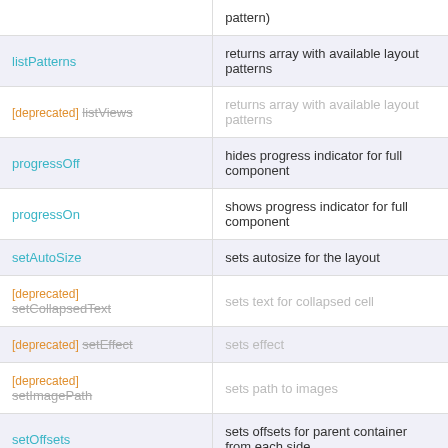| Method | Description |
| --- | --- |
| (pattern) |  |
| listPatterns | returns array with available layout patterns |
| [deprecated] listViews | returns array with available layout patterns |
| progressOff | hides progress indicator for full component |
| progressOn | shows progress indicator for full component |
| setAutoSize | sets autosize for the layout |
| [deprecated] setCollapsedText | sets text for collapsed cell |
| [deprecated] setEffect | sets effect |
| [deprecated] setImagePath | sets path to images |
| setOffsets | sets offsets for parent container from each side |